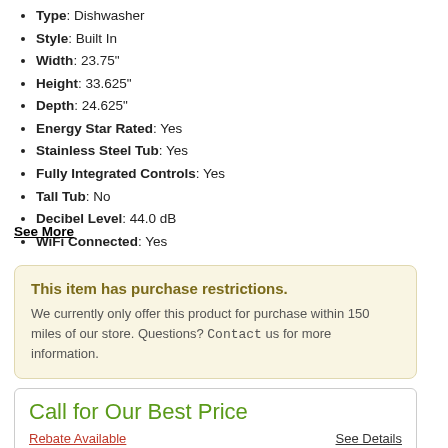Type: Dishwasher
Style: Built In
Width: 23.75"
Height: 33.625"
Depth: 24.625"
Energy Star Rated: Yes
Stainless Steel Tub: Yes
Fully Integrated Controls: Yes
Tall Tub: No
Decibel Level: 44.0 dB
WiFi Connected: Yes
See More
This item has purchase restrictions. We currently only offer this product for purchase within 150 miles of our store. Questions? Contact us for more information.
Call for Our Best Price
Rebate Available
See Details